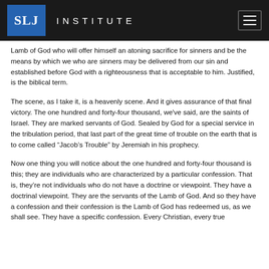SLJ INSTITUTE
Lamb of God who will offer himself an atoning sacrifice for sinners and be the means by which we who are sinners may be delivered from our sin and established before God with a righteousness that is acceptable to him. Justified, is the biblical term.
The scene, as I take it, is a heavenly scene. And it gives assurance of that final victory. The one hundred and forty-four thousand, we've said, are the saints of Israel. They are marked servants of God. Sealed by God for a special service in the tribulation period, that last part of the great time of trouble on the earth that is to come called “Jacob’s Trouble” by Jeremiah in his prophecy.
Now one thing you will notice about the one hundred and forty-four thousand is this; they are individuals who are characterized by a particular confession. That is, they’re not individuals who do not have a doctrine or viewpoint. They have a doctrinal viewpoint. They are the servants of the Lamb of God. And so they have a confession and their confession is the Lamb of God has redeemed us, as we shall see. They have a specific confession. Every Christian, every true